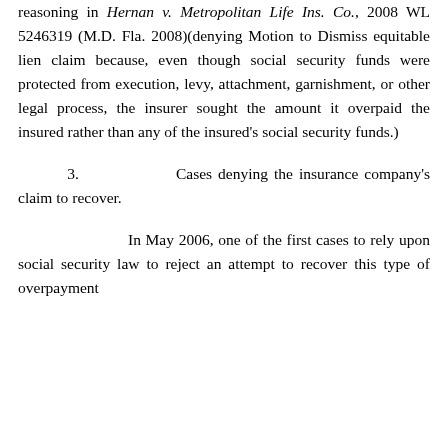reasoning in Hernan v. Metropolitan Life Ins. Co., 2008 WL 5246319 (M.D. Fla. 2008)(denying Motion to Dismiss equitable lien claim because, even though social security funds were protected from execution, levy, attachment, garnishment, or other legal process, the insurer sought the amount it overpaid the insured rather than any of the insured's social security funds.)
3.          Cases denying the insurance company's claim to recover.
In May 2006, one of the first cases to rely upon social security law to reject an attempt to recover this type of overpayment